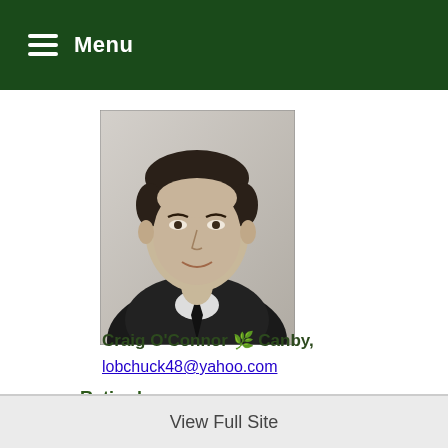Menu
[Figure (photo): Black and white yearbook-style portrait of a young man in a suit and tie, smiling slightly]
Craig O'Connor 🌿 Canby, O
lobchuck48@yahoo.com
Retired
View Full Site